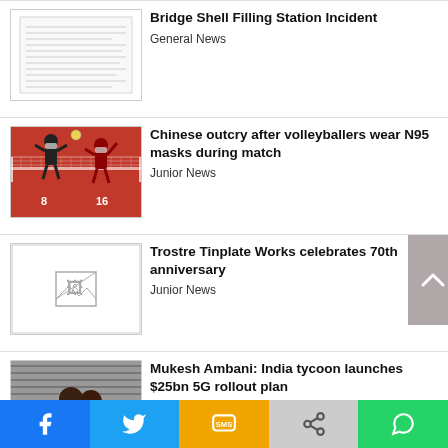[Figure (screenshot): Document/text image thumbnail for Bridge Shell Filling Station Incident article]
Bridge Shell Filling Station Incident
General News
[Figure (photo): Volleyball players wearing N95 masks during a match]
Chinese outcry after volleyballers wear N95 masks during match
Junior News
[Figure (photo): Broken/missing image placeholder for Trostre Tinplate Works article]
Trostre Tinplate Works celebrates 70th anniversary
Junior News
[Figure (photo): Two young boys looking at a smartphone, Mukesh Ambani article]
Mukesh Ambani: India tycoon launches $25bn 5G rollout plan
Junior News
Facebook | Twitter | SMS | Share | WhatsApp social sharing bar